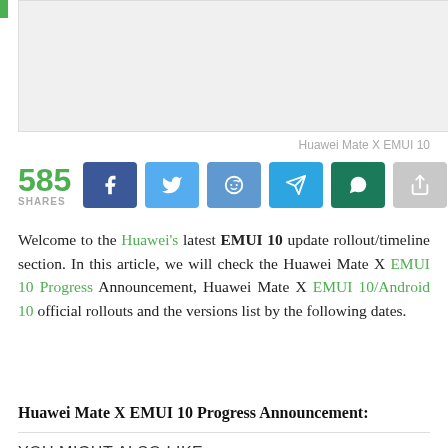[Figure (photo): Image placeholder area for Huawei Mate X EMUI 10 article header image]
Huawei Mate X EMUI 10
585 SHARES
Welcome to the Huawei's latest EMUI 10 update rollout/timeline section. In this article, we will check the Huawei Mate X EMUI 10 Progress Announcement, Huawei Mate X EMUI 10/Android 10 official rollouts and the versions list by the following dates.
Huawei Mate X EMUI 10 Progress Announcement:
YOU MIGHT ALSO LIKE